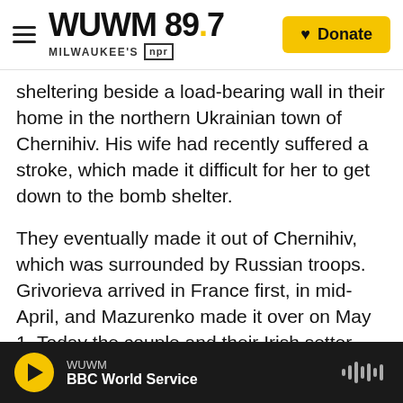WUWM 89.7 MILWAUKEE'S NPR | Donate
sheltering beside a load-bearing wall in their home in the northern Ukrainian town of Chernihiv. His wife had recently suffered a stroke, which made it difficult for her to get down to the bomb shelter.
They eventually made it out of Chernihiv, which was surrounded by Russian troops. Grivorieva arrived in France first, in mid-April, and Mazurenko made it over on May 1. Today the couple and their Irish setter Rolly and cat Jan are living with Levitin in this French village. He calls her their guardian angel.
Rolly got very sick after fleeing but pulled...
WUWM | BBC World Service